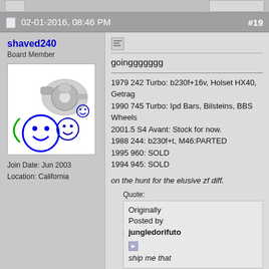02-01-2016, 08:46 PM  #19
shaved240
Board Member
Join Date: Jun 2003
Location: California
[Figure (illustration): Avatar image with turbocharger photo and smiley face graphics on white background]
goinggggggg

1979 242 Turbo: b230f+16v, Holset HX40, Getrag
1990 745 Turbo: Ipd Bars, Bilsteins, BBS Wheels
2001.5 S4 Avant: Stock for now.
1988 244: b230f+t, M46:PARTED
1995 960: SOLD
1994 945: SOLD

on the hunt for the elusive zf diff.
Quote:
Originally Posted by jungledorifuto
ship me that